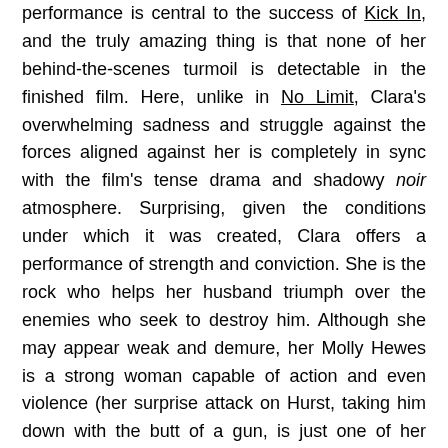performance is central to the success of Kick In, and the truly amazing thing is that none of her behind-the-scenes turmoil is detectable in the finished film. Here, unlike in No Limit, Clara's overwhelming sadness and struggle against the forces aligned against her is completely in sync with the film's tense drama and shadowy noir atmosphere. Surprising, given the conditions under which it was created, Clara offers a performance of strength and conviction. She is the rock who helps her husband triumph over the enemies who seek to destroy him. Although she may appear weak and demure, her Molly Hewes is a strong woman capable of action and even violence (her surprise attack on Hurst, taking him down with the butt of a gun, is just one of her many striking moments); she will do anything for the husband she loves, and she supports him unconditionally. It's a rounded, wholly memorable performance, I [↑] only shake my head in disbelief that if did nothing to help Clara's career, or indeed was even noticed in 1931. But then, take a